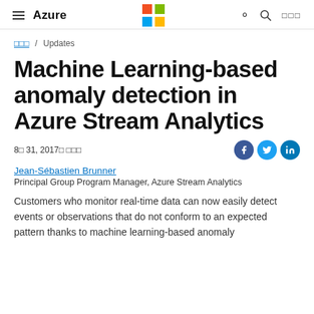Azure
□□□ / Updates
Machine Learning-based anomaly detection in Azure Stream Analytics
8□ 31, 2017□ □□□
Jean-Sébastien Brunner
Principal Group Program Manager, Azure Stream Analytics
Customers who monitor real-time data can now easily detect events or observations that do not conform to an expected pattern thanks to machine learning-based anomaly